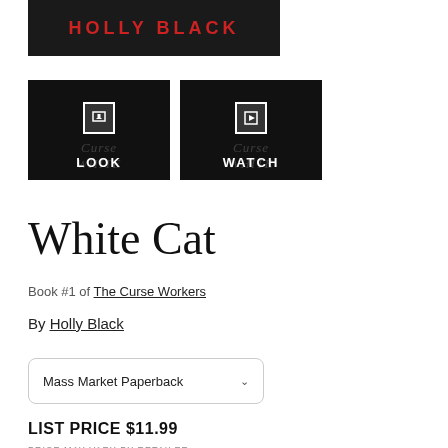[Figure (photo): Top banner image of book cover showing HOLLY BLACK text in red on dark background]
[Figure (screenshot): Two media buttons labeled LOOK and WATCH on dark book cover background]
White Cat
Book #1 of The Curse Workers
By Holly Black
Mass Market Paperback
LIST PRICE $11.99
PRICE MAY VARY BY RETAILER